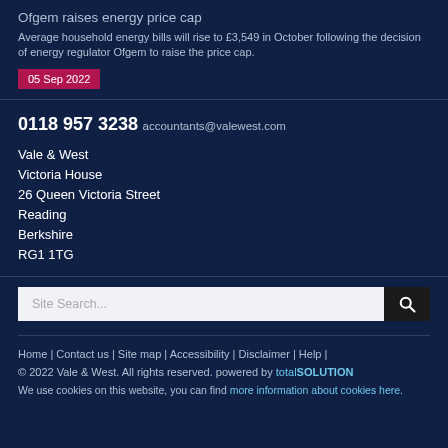Ofgem raises energy price cap
Average household energy bills will rise to £3,549 in October following the decision of energy regulator Ofgem to raise the price cap.
05 Sep 2022
0118 957 3238
accountants@valewest.com
Vale & West
Victoria House
26 Queen Victoria Street
Reading
Berkshire
RG1 1TG
Site Search...
Home | Contact us | Site map | Accessibility | Disclaimer | Help |
© 2022 Vale & West. All rights reserved. powered by totalSOLUTION
We use cookies on this website, you can find more information about cookies here.